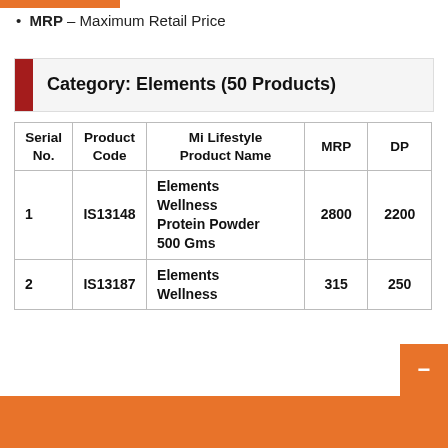MRP – Maximum Retail Price
Category: Elements (50 Products)
| Serial No. | Product Code | Mi Lifestyle Product Name | MRP | DP |
| --- | --- | --- | --- | --- |
| 1 | IS13148 | Elements Wellness Protein Powder 500 Gms | 2800 | 2200 |
| 2 | IS13187 | Elements Wellness | 315 | 250 |